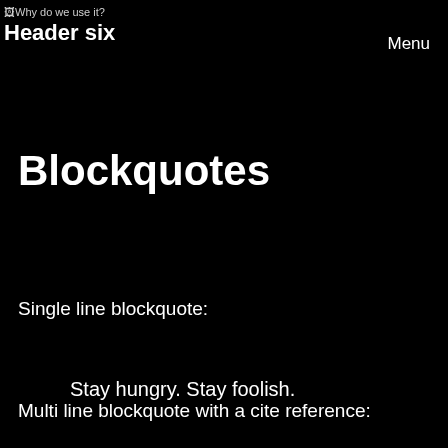Why do we use it?
Header six
Menu
Blockquotes
Single line blockquote:
Stay hungry. Stay foolish.
Multi line blockquote with a cite reference: